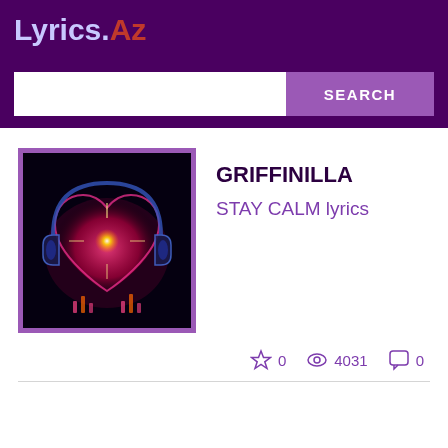Lyrics.Az
[Figure (screenshot): Search bar with white input field and purple SEARCH button]
[Figure (illustration): Album art showing a glowing heart with headphones on black background, surrounded by purple border]
GRIFFINILLA
STAY CALM lyrics
0  4031  0